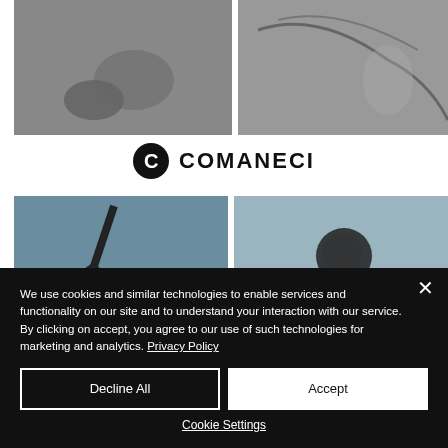[Figure (photo): Two grayscale medical/angiography images at top of page, partially cropped]
[Figure (logo): Comaneci logo: black circle with letter C followed by COMANECI text]
[Figure (photo): Two grayscale angiography/medical imaging photos showing vascular structures]
We use cookies and similar technologies to enable services and functionality on our site and to understand your interaction with our service. By clicking on accept, you agree to our use of such technologies for marketing and analytics. Privacy Policy
Decline All
Accept
Cookie Settings